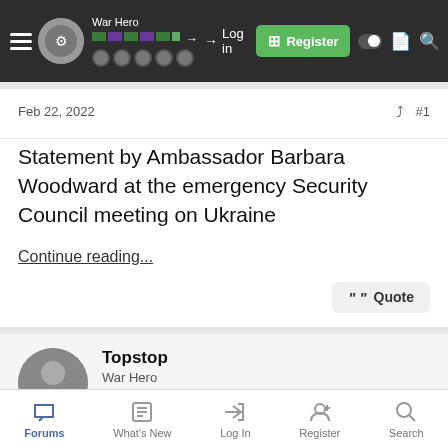War Hero | Log in | Register
Feb 22, 2022
Statement by Ambassador Barbara Woodward at the emergency Security Council meeting on Ukraine
Continue reading...
Topstop
War Hero
Forums | What's New | Log In | Register | Search